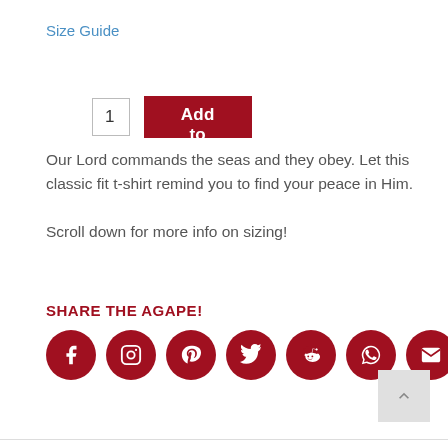Size Guide
[Figure (screenshot): Quantity input box showing '1' and a dark red 'Add to cart' button]
Our Lord commands the seas and they obey. Let this classic fit t-shirt remind you to find your peace in Him.

Scroll down for more info on sizing!
SHARE THE AGAPE!
[Figure (infographic): Seven dark red circular social media icons: Facebook, Instagram, Pinterest, Twitter, Reddit, WhatsApp, Email]